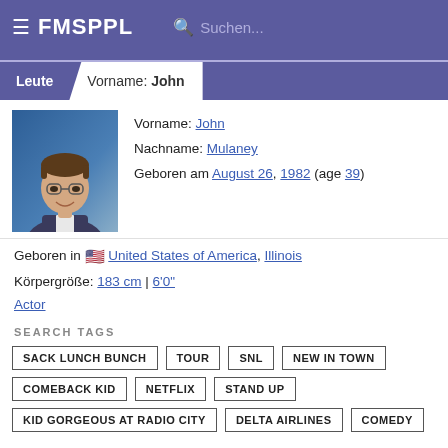FMSPPL
Leute  Vorname: John
[Figure (photo): Headshot of John Mulaney smiling, wearing glasses and a suit, blue background]
Vorname: John
Nachname: Mulaney
Geboren am August 26, 1982 (age 39)
Geboren in United States of America, Illinois
Körpergröße: 183 cm | 6'0"
Actor
SEARCH TAGS
SACK LUNCH BUNCH
TOUR
SNL
NEW IN TOWN
COMEBACK KID
NETFLIX
STAND UP
KID GORGEOUS AT RADIO CITY
DELTA AIRLINES
COMEDY